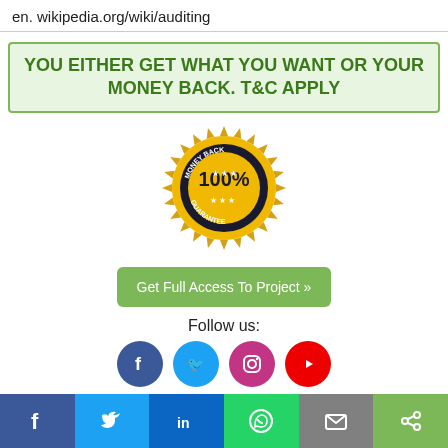en. wikipedia.org/wiki/auditing
YOU EITHER GET WHAT YOU WANT OR YOUR MONEY BACK. T&C APPLY
[Figure (illustration): Money Back Guarantee 100% seal/badge in gold and black]
Get Full Access To Project »
Follow us:
[Figure (infographic): Social media icons row: Facebook (blue), Twitter (light blue), Instagram (purple), YouTube (red)]
[Figure (infographic): Bottom share bar with icons: f (Facebook), Twitter bird, in (LinkedIn), WhatsApp, envelope (email), share]